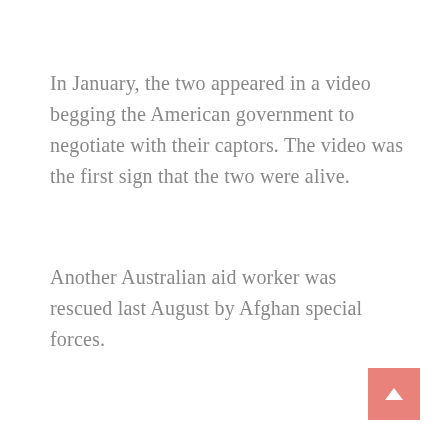In January, the two appeared in a video begging the American government to negotiate with their captors. The video was the first sign that the two were alive.
Another Australian aid worker was rescued last August by Afghan special forces.